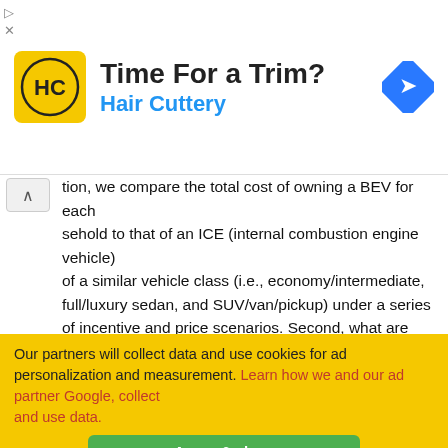[Figure (other): Advertisement banner for Hair Cuttery salon. Shows the Hair Cuttery logo (HC in circle on yellow background), headline 'Time For a Trim?', subline 'Hair Cuttery', and a blue navigation diamond icon on the right.]
tion, we compare the total cost of owning a BEV for each sehold to that of an ICE (internal combustion engine vehicle) of a similar vehicle class (i.e., economy/intermediate, full/luxury sedan, and SUV/van/pickup) under a series of incentive and price scenarios. Second, what are the determinants of annual mileage and ownership period, as the most influential factors on the outcome obtained from the TCO model? To address this question, we model these two variables simultaneously based on households' specific characteristics using a bivariate ordered probit model. Both dependent variables are collected as ordered responses in the survey underlying our analysis. This part of the analysis links a household's specific characteristics/situation to the TCO model. Additionally, we conceptualize BEVs as a household's primary vehicle, which can bring long-term economic advantages for those who travel
Our partners will collect data and use cookies for ad personalization and measurement. Learn how we and our ad partner Google, collect and use data.